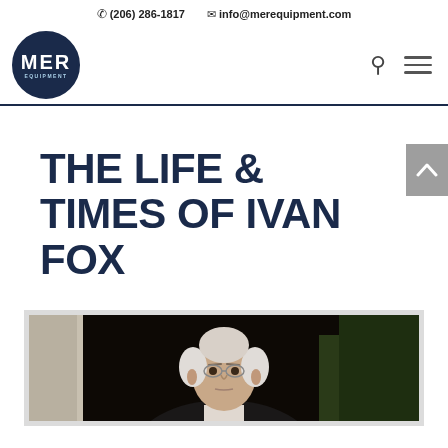(206) 286-1817  info@merequipment.com
[Figure (logo): MER Equipment circular logo with dark navy background and white text]
THE LIFE & TIMES OF IVAN FOX
[Figure (photo): Portrait photo of an elderly man with white hair and glasses against a dark background]